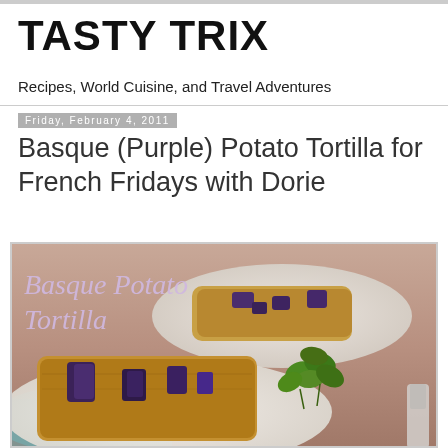TASTY TRIX
Recipes, World Cuisine, and Travel Adventures
Friday, February 4, 2011
Basque (Purple) Potato Tortilla for French Fridays with Dorie
[Figure (photo): A food photograph showing a Basque potato tortilla with purple potato chunks on a white plate, garnished with fresh greens. A second plate is visible blurred in the background. The text 'Basque Potato Tortilla' is overlaid in italic purple script on the top-left of the image.]